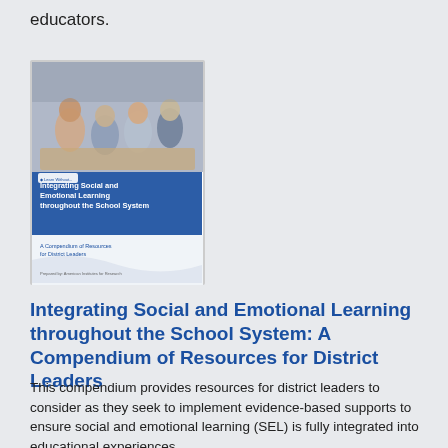educators.
[Figure (illustration): Book cover of 'Integrating Social and Emotional Learning throughout the School System: A Compendium of Resources for District Leaders' showing people in discussion at a table with a blue and white design.]
Integrating Social and Emotional Learning throughout the School System: A Compendium of Resources for District Leaders
This compendium provides resources for district leaders to consider as they seek to implement evidence-based supports to ensure social and emotional learning (SEL) is fully integrated into educational experiences.